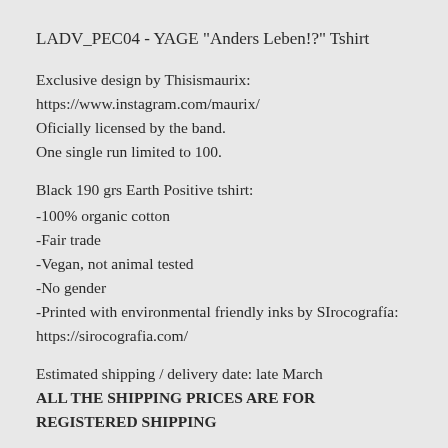LADV_PEC04 - YAGE "Anders Leben!?" Tshirt
Exclusive design by Thisismaurix:
https://www.instagram.com/maurix/
Oficially licensed by the band.
One single run limited to 100.
Black 190 grs Earth Positive tshirt:
-100% organic cotton
-Fair trade
-Vegan, not animal tested
-No gender
-Printed with environmental friendly inks by SIrocografía:
https://sirocografia.com/
Estimated shipping / delivery date: late March
ALL THE SHIPPING PRICES ARE FOR REGISTERED SHIPPING